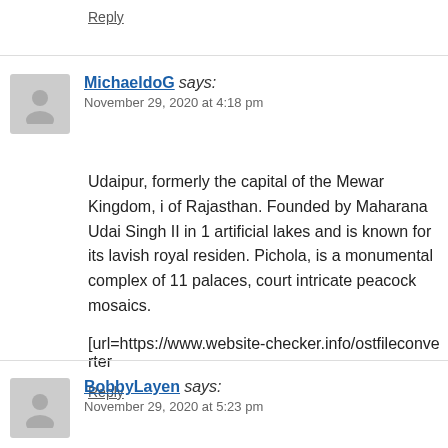Reply
MichaeldoG says:
November 29, 2020 at 4:18 pm
Udaipur, formerly the capital of the Mewar Kingdom, i... of Rajasthan. Founded by Maharana Udai Singh II in 1... artificial lakes and is known for its lavish royal residen... Pichola, is a monumental complex of 11 palaces, court... intricate peacock mosaics.
[url=https://www.website-checker.info/ostfileconverter...
Reply
BobbyLayen says:
November 29, 2020 at 5:23 pm